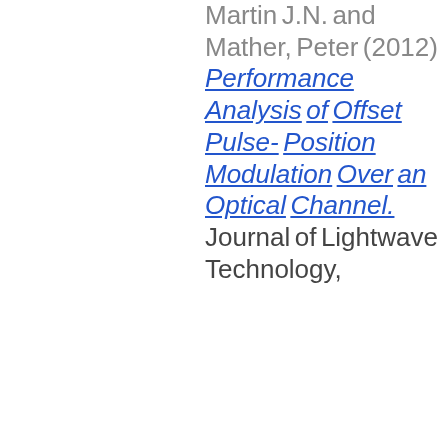Martin J.N. and Mather, Peter (2012) Performance Analysis of Offset Pulse-Position Modulation Over an Optical Channel. Journal of Lightwave Technology,